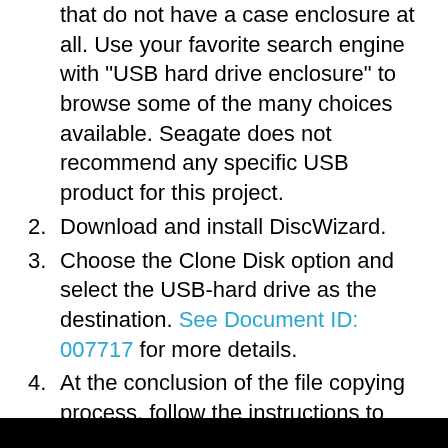that do not have a case enclosure at all. Use your favorite search engine with "USB hard drive enclosure" to browse some of the many choices available. Seagate does not recommend any specific USB product for this project.
2. Download and install DiscWizard.
3. Choose the Clone Disk option and select the USB-hard drive as the destination. See Document ID: 007717 for more details.
4. At the conclusion of the file copying process, follow the instructions to completely shut down the computer.
5. Using the documentation for your laptop computer, follow the manufacturer's instructions for removing the original hard disk drive.
6. Disconnect the new disk drive from the USB enclosure and install it into your computer...